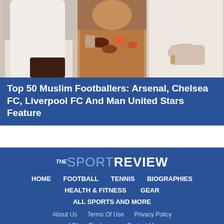[Figure (photo): Three people in white clothing, with a table of food/drinks in the center]
Top 50 Muslim Footballers: Arsenal, Chelsea FC, Liverpool FC And Man United Stars Feature
BACK TO TOP
[Figure (logo): THE SPORT REVIEW logo in white and light blue on dark blue background]
HOME
FOOTBALL
TENNIS
BIOGRAPHIES
HEALTH & FITNESS
GEAR
ALL SPORTS AND MORE
About Us
Terms Of Use
Privacy Policy
Affiliate Disclosure
Contact Us